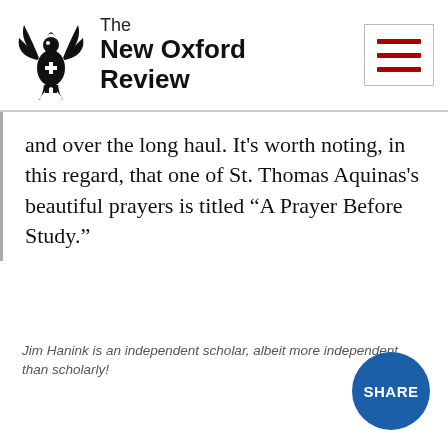[Figure (logo): The New Oxford Review masthead with eagle logo and publication name]
and over the long haul. It’s worth noting, in this regard, that one of St. Thomas Aquinas’s beautiful prayers is titled “A Prayer Before Study.”
Jim Hanink is an independent scholar, albeit more independent than scholarly!